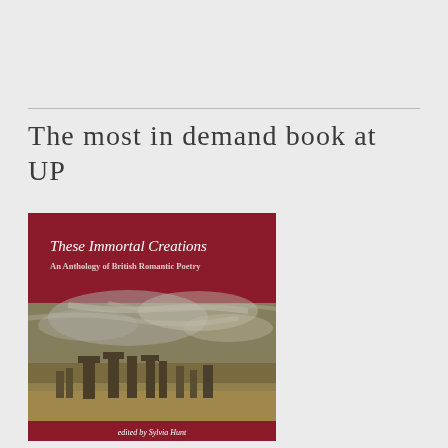The most in demand book at UP
[Figure (illustration): Book cover of 'These Immortal Creations: An Anthology of British Romantic Poetry' edited by Sylvia Hunt. Dark red top and bottom bands with italic white title text and a painterly image of Stonehenge under a dramatic stormy sky.]